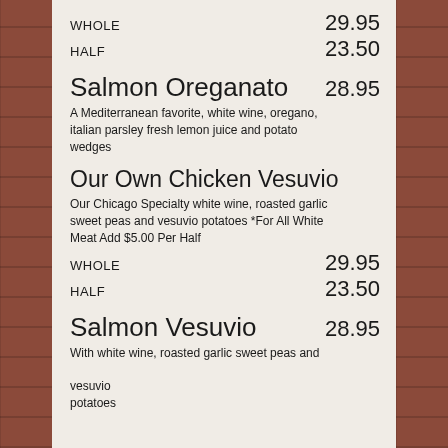WHOLE    29.95
HALF    23.50
Salmon Oreganato
28.95
A Mediterranean favorite, white wine, oregano, italian parsley fresh lemon juice and potato wedges
Our Own Chicken Vesuvio
Our Chicago Specialty white wine, roasted garlic sweet peas and vesuvio potatoes *For All White Meat Add $5.00 Per Half
WHOLE    29.95
HALF    23.50
Salmon Vesuvio
28.95
With white wine, roasted garlic sweet peas and vesuvio potatoes